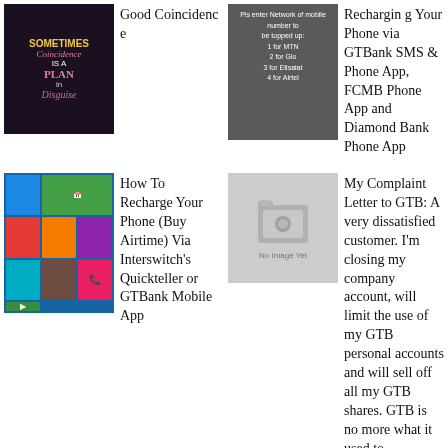[Figure (illustration): Motivational quote image on dark background: 'Sometimes Coincidence IS A PLAN in Disguise']
Good Coincidence
[Figure (screenshot): Dark grey dialog box asking user to enter network of mobile number to be topped up: 1 for MTN, 2 for Glo, 3 for Etisalat, 4 for Airtel]
Recharging Your Phone via GTBank SMS & Phone App, FCMB Phone App and Diamond Bank Phone App
[Figure (screenshot): Windows Phone / tablet interface showing colorful tiles including calendar, phone, and other app tiles]
How To Recharge Your Phone (Buy Airtime) Via Interswitch's Quickteller or GTBank Mobile App
[Figure (photo): No Image Yet placeholder showing grey camera/photo icon]
My Complaint Letter to GTB: A very dissatisfied customer. I'm closing my company account, will limit the use of my GTB personal accounts and will sell off all my GTB shares. GTB is no more what it used to